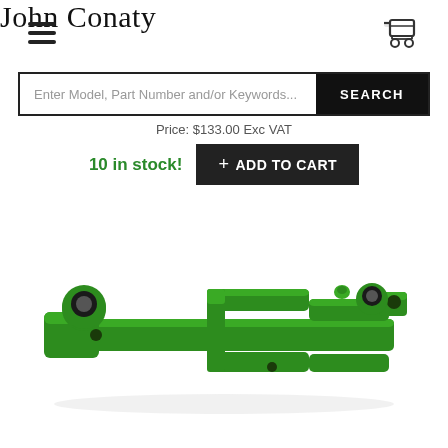John Conaty
Enter Model, Part Number and/or Keywords... SEARCH
Price: $133.00 Exc VAT
10 in stock! + ADD TO CART
[Figure (photo): Green metal farm equipment bracket/linkage arm component, photographed on white background]